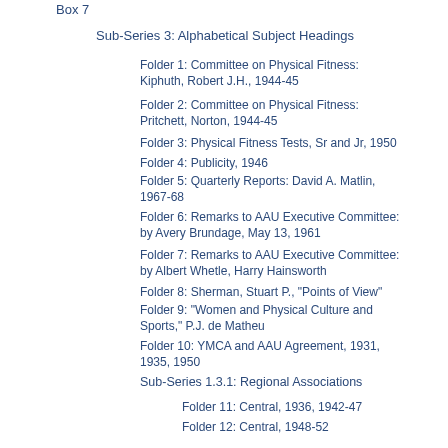Box 7
Sub-Series 3: Alphabetical Subject Headings
Folder 1: Committee on Physical Fitness: Kiphuth, Robert J.H., 1944-45
Folder 2: Committee on Physical Fitness: Pritchett, Norton, 1944-45
Folder 3: Physical Fitness Tests, Sr and Jr, 1950
Folder 4: Publicity, 1946
Folder 5: Quarterly Reports: David A. Matlin, 1967-68
Folder 6: Remarks to AAU Executive Committee: by Avery Brundage, May 13, 1961
Folder 7: Remarks to AAU Executive Committee: by Albert Whetle, Harry Hainsworth
Folder 8: Sherman, Stuart P., "Points of View"
Folder 9: "Women and Physical Culture and Sports," P.J. de Matheu
Folder 10: YMCA and AAU Agreement, 1931, 1935, 1950
Sub-Series 1.3.1: Regional Associations
Folder 11: Central, 1936, 1942-47
Folder 12: Central, 1948-52